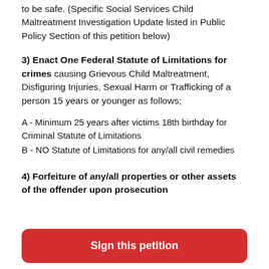to be safe. (Specific Social Services Child Maltreatment Investigation Update listed in Public Policy Section of this petition below)
3) Enact One Federal Statute of Limitations for crimes causing Grievous Child Maltreatment, Disfiguring Injuries, Sexual Harm or Trafficking of a person 15 years or younger as follows;
A - Minimum 25 years after victims 18th birthday for Criminal Statute of Limitations
B - NO Statute of Limitations for any/all civil remedies
4) Forfeiture of any/all properties or other assets of the offender upon prosecution
Sign this petition